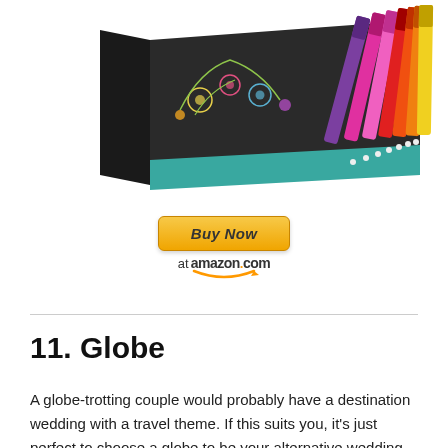[Figure (photo): Product image of a set of colorful chalk markers in a dark box with floral design, showing multiple marker colors fanned out including purple, pink, red, orange, yellow]
[Figure (other): Buy Now button at amazon.com with orange gradient button and amazon smile logo]
11. Globe
A globe-trotting couple would probably have a destination wedding with a travel theme. If this suits you, it’s just perfect to choose a globe to be your alternative wedding guest book. Let your guests make their marks in your own world. By convention, done with a custom